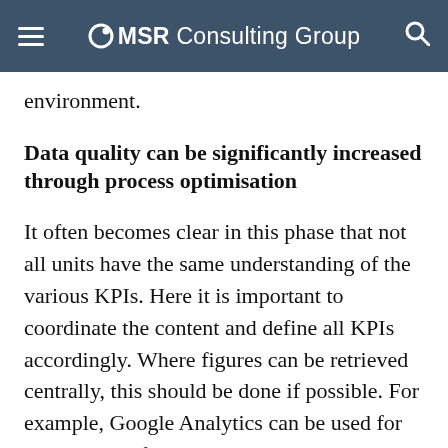MSR Consulting Group
environment.
Data quality can be significantly increased through process optimisation
It often becomes clear in this phase that not all units have the same understanding of the various KPIs. Here it is important to coordinate the content and define all KPIs accordingly. Where figures can be retrieved centrally, this should be done if possible. For example, Google Analytics can be used for the number of website visitors. Furthermore, if possible, data should